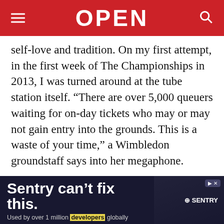OPEN
self-love and tradition. On my first attempt, in the first week of The Championships in 2013, I was turned around at the tube station itself. “There are over 5,000 queuers waiting for on-day tickets who may or may not gain entry into the grounds. This is a waste of your time,” a Wimbledon groundstaff says into her megaphone.
Wimbledon is often referred to as the Mecca of tennis and there are only three legit methods of
[Figure (other): Advertisement banner: Sentry can't fix this. Used by over 1 million developers globally. Sentry logo and illustration visible on right side.]